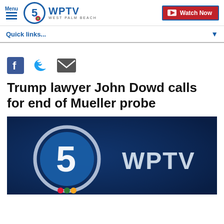Menu | WPTV West Palm Beach | Watch Now
Quick links...
[Figure (other): Social media share icons: Facebook, Twitter, Email]
Trump lawyer John Dowd calls for end of Mueller probe
[Figure (screenshot): WPTV Channel 5 logo on dark blue background with 5 in circle and WPTV text]